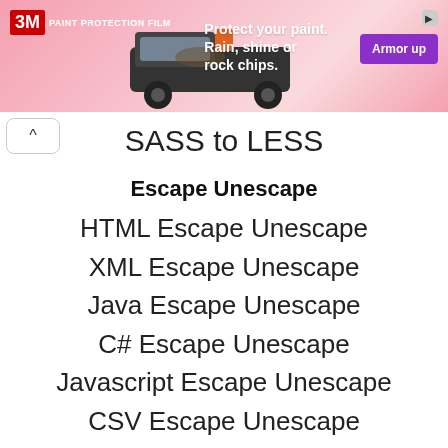[Figure (other): 3M Paint Protection Film advertisement banner with pink background, a truck image, text 'Protect your paint. Rain, shine or rock chips.' and a purple 'Armor up' button]
SASS to LESS
Escape Unescape
HTML Escape Unescape
XML Escape Unescape
Java Escape Unescape
C# Escape Unescape
Javascript Escape Unescape
CSV Escape Unescape
SQL Escape Unescape